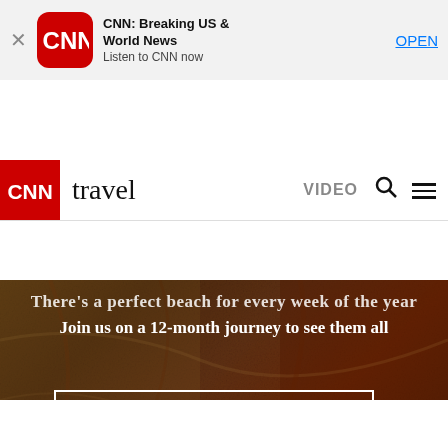[Figure (screenshot): CNN app download banner with CNN logo, title 'CNN: Breaking US & World News', subtitle 'Listen to CNN now', and OPEN button]
CNN travel  VIDEO
[Figure (photo): Aerial view of beach with reddish-brown tones, sand and water visible from above]
There's a perfect beach for every week of the year Join us on a 12-month journey to see them all
Go to the best beaches